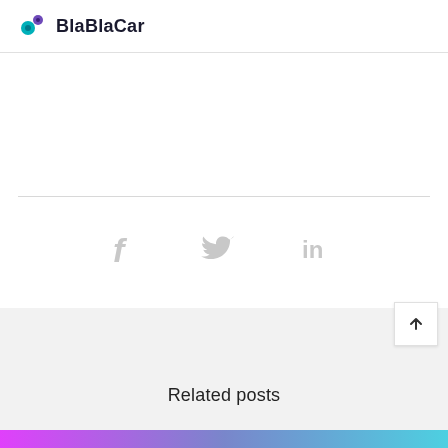BlaBlaCar
[Figure (other): Social media share icons: Facebook (f), Twitter (bird), LinkedIn (in) in light gray]
Find out more about
BLABLASTARS
Related posts